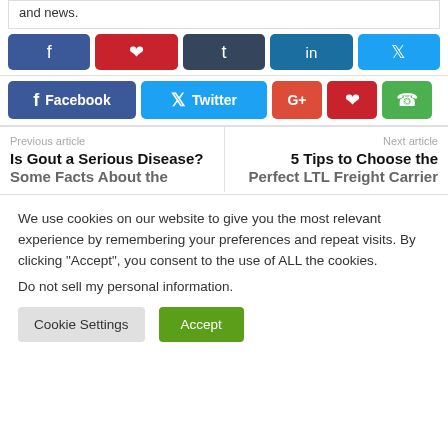and news.
[Figure (infographic): Row of 5 social share buttons: Facebook (blue, f icon), Pinterest (red, pin icon), Tumblr (dark, t icon), LinkedIn (blue, in icon), Twitter (light blue, bird icon)]
[Figure (infographic): Row of social share buttons: Facebook (blue, f icon + Facebook label), Twitter (cyan, bird icon + Twitter label), Google+ (red, G+ icon), Pinterest (red, P icon), WhatsApp (green, phone icon)]
Previous article
Next article
Is Gout a Serious Disease? Some Facts About the
5 Tips to Choose the Perfect LTL Freight Carrier
We use cookies on our website to give you the most relevant experience by remembering your preferences and repeat visits. By clicking “Accept”, you consent to the use of ALL the cookies.
Do not sell my personal information.
Cookie Settings
Accept